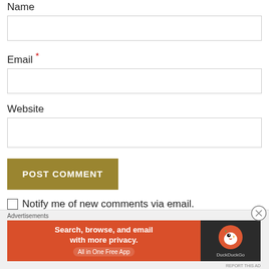Name
Email *
Website
POST COMMENT
Notify me of new comments via email.
Notify me of new posts via email.
[Figure (screenshot): DuckDuckGo advertisement banner: Search, browse, and email with more privacy. All in One Free App. DuckDuckGo logo on dark background.]